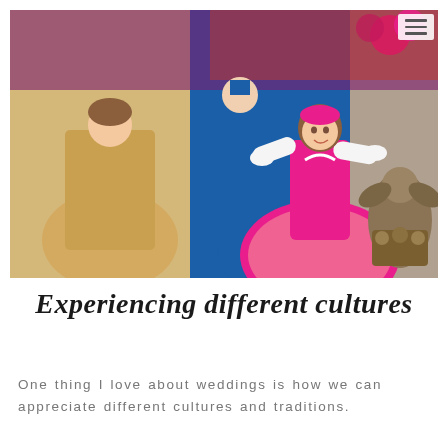[Figure (photo): A woman in a bright pink ball gown and pink headpiece performing or dancing at a colorful event. Behind her are other performers in blue and gold costumes with floral decorations. A cherub/angel statue is visible on the right side. The scene appears to be a theatrical or wedding performance.]
Experiencing different cultures
One thing I love about weddings is how we can appreciate different cultures and traditions.